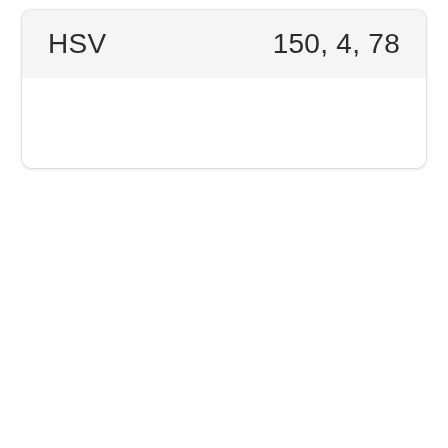| Label | Value |
| --- | --- |
| HSV | 150, 4, 78 |